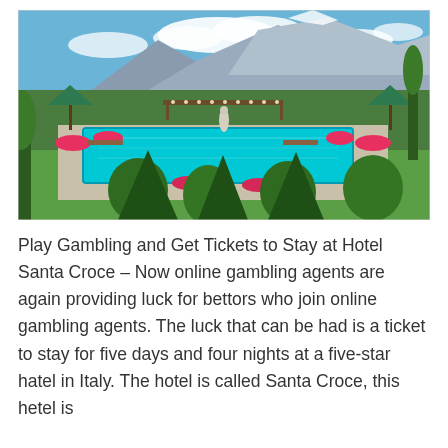[Figure (photo): Outdoor hotel scene with a large swimming pool, flower arrangements, green umbrella tents, a statue, a pergola structure, and a dramatic mountain range in the background under a blue sky with clouds.]
Play Gambling and Get Tickets to Stay at Hotel Santa Croce – Now online gambling agents are again providing luck for bettors who join online gambling agents. The luck that can be had is a ticket to stay for five days and four nights at a five-star hatel in Italy. The hotel is called Santa Croce, this hetel is